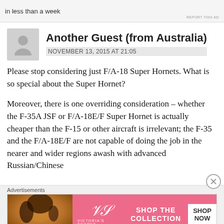[Figure (other): Top advertisement banner with text 'in less than a week' and a logo, with 'REPORT THIS AD' link]
Another Guest (from Australia)
NOVEMBER 13, 2015 AT 21:05
Please stop considering just F/A-18 Super Hornets. What is so special about the Super Hornet?
Moreover, there is one overriding consideration – whether the F-35A JSF or F/A-18E/F Super Hornet is actually cheaper than the F-15 or other aircraft is irrelevant; the F-35 and the F/A-18E/F are not capable of doing the job in the nearer and wider regions awash with advanced Russian/Chinese
[Figure (other): Victoria's Secret advertisement banner with model photo, VS logo, 'SHOP THE COLLECTION' text and 'SHOP NOW' button]